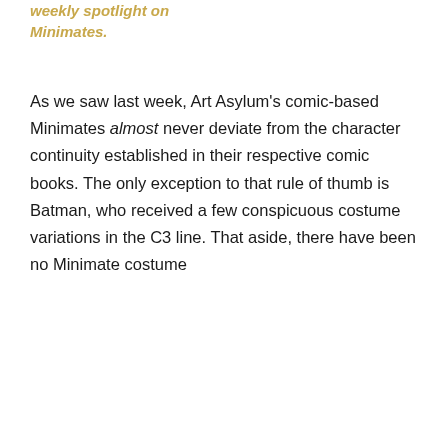weekly spotlight on Minimates.
As we saw last week, Art Asylum's comic-based Minimates almost never deviate from the character continuity established in their respective comic books. The only exception to that rule of thumb is Batman, who received a few conspicuous costume variations in the C3 line. That aside, there have been no Minimate costume